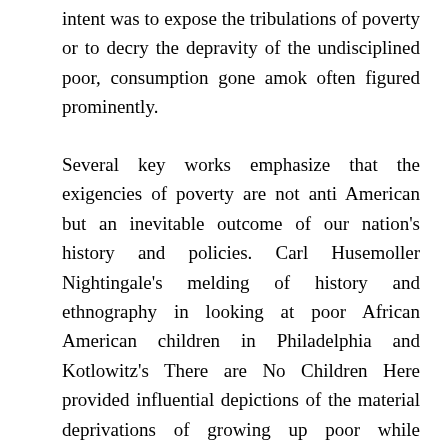intent was to expose the tribulations of poverty or to decry the depravity of the undisciplined poor, consumption gone amok often figured prominently.
Several key works emphasize that the exigencies of poverty are not anti American but an inevitable outcome of our nation's history and policies. Carl Husemoller Nightingale's melding of history and ethnography in looking at poor African American children in Philadelphia and Kotlowitz's There are No Children Here provided influential depictions of the material deprivations of growing up poor while surrounded by images of wealth. Despite the rise of the African American middle class, the continuing dominant image of the African American consumer was as a poor slum dweller. Such images are politically charged. In an analysis of events surrounding the civil uprising in 1992